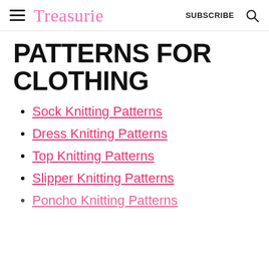Treasurie — SUBSCRIBE
PATTERNS FOR CLOTHING
Sock Knitting Patterns
Dress Knitting Patterns
Top Knitting Patterns
Slipper Knitting Patterns
Poncho Knitting Patterns